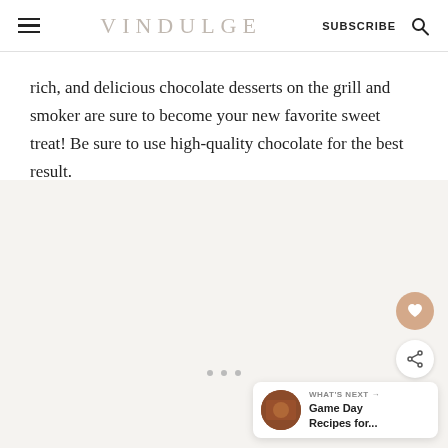VINDULGE | SUBSCRIBE
rich, and delicious chocolate desserts on the grill and smoker are sure to become your new favorite sweet treat! Be sure to use high-quality chocolate for the best result.
[Figure (photo): Image placeholder area with floating heart and share buttons, and a What's Next widget showing Game Day Recipes for...]